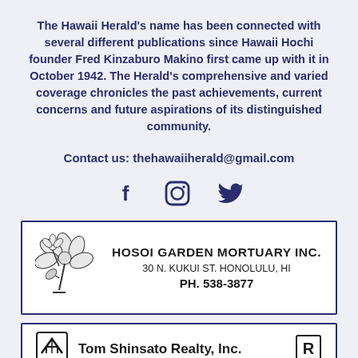The Hawaii Herald's name has been connected with several different publications since Hawaii Hochi founder Fred Kinzaburo Makino first came up with it in October 1942. The Herald's comprehensive and varied coverage chronicles the past achievements, current concerns and future aspirations of its distinguished community.
Contact us: thehawaiiherald@gmail.com
[Figure (illustration): Social media icons: Facebook (f), Instagram (camera in circle), Twitter (bird)]
[Figure (other): Advertisement for Hosoi Garden Mortuary Inc. with flower logo, address 30 N. Kukui St. Honolulu, HI, Phone PH. 538-3877]
[Figure (other): Advertisement for Tom Shinsato Realty, Inc. with logo icons]